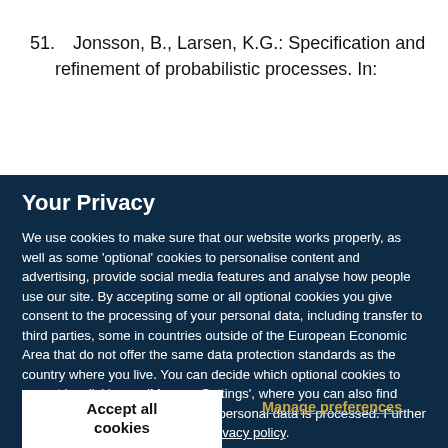51. Jonsson, B., Larsen, K.G.: Specification and refinement of probabilistic processes. In:
Your Privacy
We use cookies to make sure that our website works properly, as well as some 'optional' cookies to personalise content and advertising, provide social media features and analyse how people use our site. By accepting some or all optional cookies you give consent to the processing of your personal data, including transfer to third parties, some in countries outside of the European Economic Area that do not offer the same data protection standards as the country where you live. You can decide which optional cookies to accept by clicking on 'Manage Settings', where you can also find more information about how your personal data is processed. Further information can be found in our privacy policy.